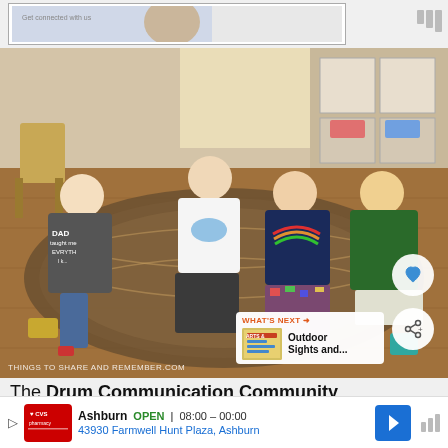[Figure (photo): Top advertisement banner with image, partially visible, showing a woman's face and text]
[Figure (photo): Four young children sitting on a patterned rug on a wooden floor in a classroom setting, faces blurred for privacy. Watermark reads THINGS TO SHARE AND REMEMBER.COM]
[Figure (photo): What's Next callout showing thumbnail for Outdoor Sights and... article]
The Drum Communication Community
Ci...
[Figure (photo): Bottom advertisement: CVS Pharmacy, Ashburn, OPEN 08:00-00:00, 43930 Farmwell Hunt Plaza, Ashburn]